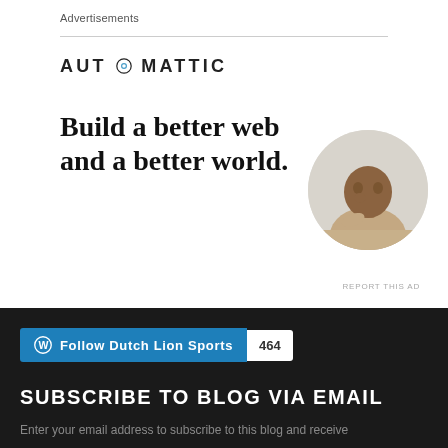Advertisements
[Figure (logo): Automattic logo with stylized O icon]
Build a better web and a better world.
[Figure (photo): Circular portrait photo of a young man in a beige shirt, sitting thoughtfully with hand near face]
Apply
REPORT THIS AD
Follow Dutch Lion Sports 464
SUBSCRIBE TO BLOG VIA EMAIL
Enter your email address to subscribe to this blog and receive